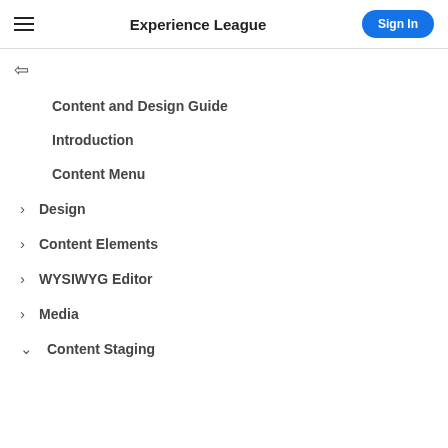Experience League
Content and Design Guide
Introduction
Content Menu
> Design
> Content Elements
> WYSIWYG Editor
> Media
v Content Staging